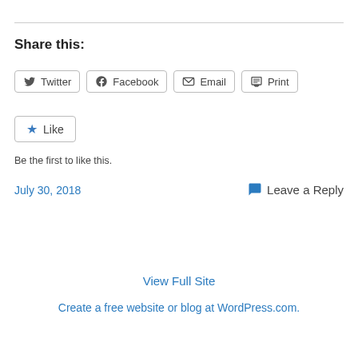Share this:
Twitter  Facebook  Email  Print
Like
Be the first to like this.
July 30, 2018
Leave a Reply
View Full Site
Create a free website or blog at WordPress.com.